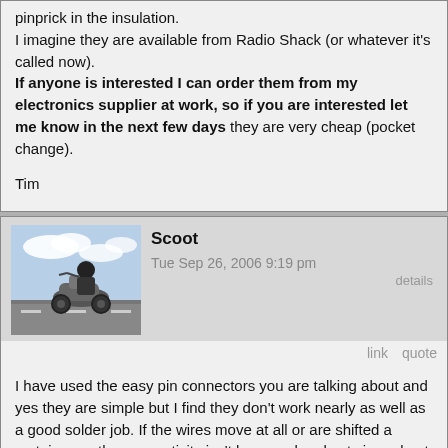pinprick in the insulation.
I imagine they are available from Radio Shack (or whatever it's called now).
If anyone is interested I can order them from my electronics supplier at work, so if you are interested let me know in the next few days they are very cheap (pocket change).

Tim
Scoot
Tue Sep 26, 2006 9:19 pm
details
link   quote
I have used the easy pin connectors you are talking about and yes they are simple but I find they don't work nearly as well as a good solder job. If the wires move at all or are shifted a certain way, the connectivity isn't has good and cuts in and out. Just my two cents, it could have been the connectors I was using.
Timbit